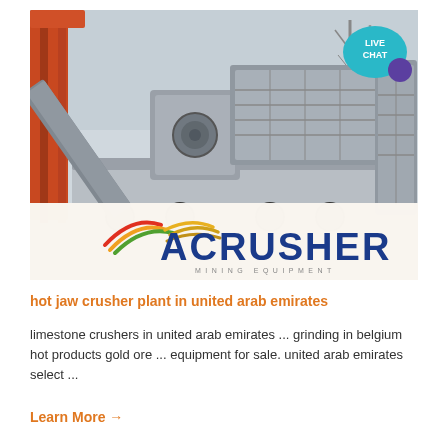[Figure (photo): Mobile jaw crusher plant machinery on a truck/trailer, with industrial equipment and a steel framework crane visible. ACrusher Mining Equipment logo overlay at the bottom with rainbow arc lines and a Live Chat bubble in the top right corner.]
hot jaw crusher plant in united arab emirates
limestone crushers in united arab emirates ... grinding in belgium hot products gold ore ... equipment for sale. united arab emirates select ...
Learn More →